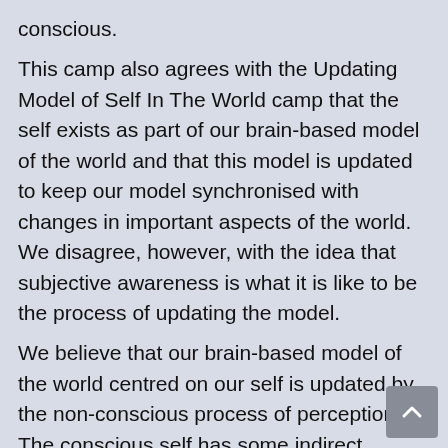conscious.
This camp also agrees with the Updating Model of Self In The World camp that the self exists as part of our brain-based model of the world and that this model is updated to keep our model synchronised with changes in important aspects of the world. We disagree, however, with the idea that subjective awareness is what it is like to be the process of updating the model.
We believe that our brain-based model of the world centred on our self is updated by the non-conscious process of perception. The conscious self has some indirect control over this process (by, for instance, moving the body to a different location) but there is no direct intervention: updating is not conscious. Subjective awareness